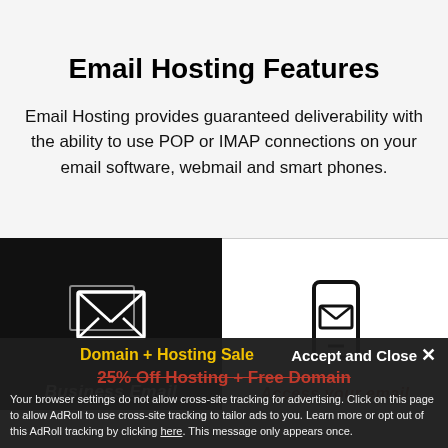Email Hosting Features
Email Hosting provides guaranteed deliverability with the ability to use POP or IMAP connections on your email software, webmail and smart phones.
[Figure (illustration): Black panel with white envelope/email icon and 'Business Email' label below]
[Figure (illustration): White panel with phone/email icon and 'Access your email' label below in red]
Domain + Hosting Sale
25% Off Hosting + Free Domain
Your browser settings do not allow cross-site tracking for advertising. Click on this page to allow AdRoll to use cross-site tracking to tailor ads to you. Learn more or opt out of this AdRoll tracking by clicking here. This message only appears once.